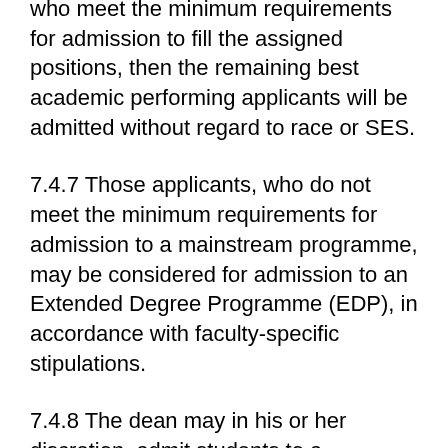who meet the minimum requirements for admission to fill the assigned positions, then the remaining best academic performing applicants will be admitted without regard to race or SES.
7.4.7 Those applicants, who do not meet the minimum requirements for admission to a mainstream programme, may be considered for admission to an Extended Degree Programme (EDP), in accordance with faculty-specific stipulations.
7.4.8 The dean may in his or her discretion, admit students to a mainstream or EDP in highly exceptional cases, with a view to promoting diversity and compensating for socio-economic disadvantage.